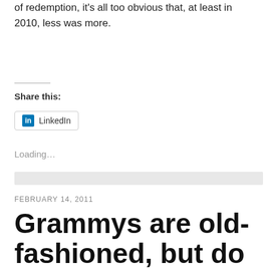of redemption, it's all too obvious that, at least in 2010, less was more.
Share this:
LinkedIn
Loading...
FEBRUARY 14, 2011
Grammys are old-fashioned, but do they deserve a